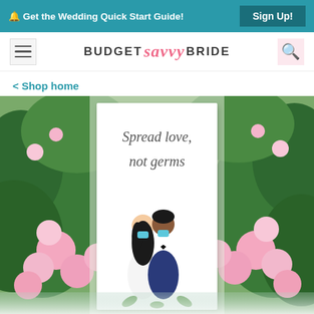🔔 Get the Wedding Quick Start Guide!  Sign Up!
BUDGET Savvy BRIDE
< Shop home
[Figure (photo): Product photo of a wedding sign reading 'Spread love, not germs' with illustrated bride and groom wearing face masks, surrounded by pink roses and green leaves. A light reflection appears at the bottom.]